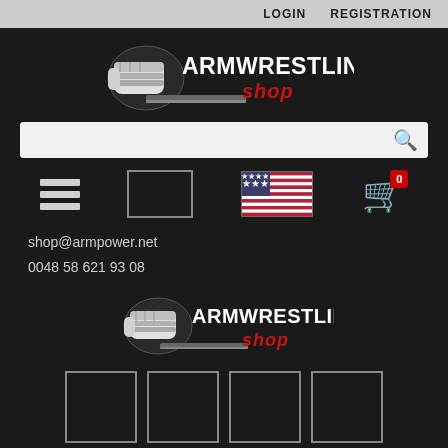LOGIN   REGISTRATION
[Figure (logo): Armwrestling Shop logo with fist icon, white bold text ARMWRESTLING and red italic text shop]
[Figure (screenshot): Search bar with magnifying glass icon]
[Figure (infographic): Navigation row with hamburger menu, empty box, US flag, and shopping cart with badge showing 0]
shop@armpower.net
0048 58 621 93 08
[Figure (logo): Armwrestling Shop logo (smaller) with fist icon, white bold text ARMWRESTLING and red italic text shop]
[Figure (infographic): Row of four empty square boxes (social/payment icons placeholders)]